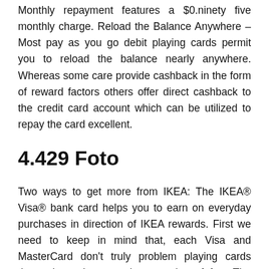Monthly repayment features a $0.ninety five monthly charge. Reload the Balance Anywhere – Most pay as you go debit playing cards permit you to reload the balance nearly anywhere. Whereas some care provide cashback in the form of reward factors others offer direct cashback to the credit card account which can be utilized to repay the card excellent.
4.429 Foto
Two ways to get more from IKEA: The IKEA® Visa® bank card helps you to earn on everyday purchases in direction of IKEA rewards. First we need to keep in mind that, each Visa and MasterCard don't truly problem playing cards themselves; they merely strategies of fee. The history of bank cards will be dated way back to the 1800s. See your credit card